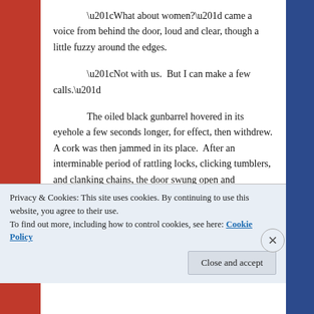“What about women?” came a voice from behind the door, loud and clear, though a little fuzzy around the edges.
“Not with us.  But I can make a few calls.”
The oiled black gunbarrel hovered in its eyehole a few seconds longer, for effect, then withdrew. A cork was then jammed in its place.  After an interminable period of rattling locks, clicking tumblers, and clanking chains, the door swung open and Whitestock emerged, clad in a red nylon goose down deer hunting vest, pajama bottoms, a Denver Broncos gimme cap, and mirrored cop glasses.
Privacy & Cookies: This site uses cookies. By continuing to use this website, you agree to their use.
To find out more, including how to control cookies, see here: Cookie Policy
Close and accept